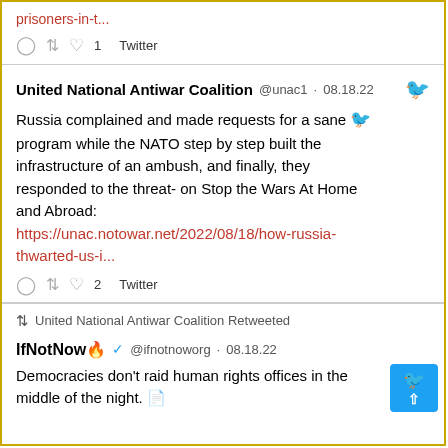prisoners-in-t...
♡ 1  Twitter
United National Antiwar Coalition @unac1 · 08.18.22
Russia complained and made requests for a sane program while the NATO step by step built the infrastructure of an ambush, and finally, they responded to the threat- on Stop the Wars At Home and Abroad: https://unac.notowar.net/2022/08/18/how-russia-thwarted-us-i...
♡ 2  Twitter
United National Antiwar Coalition Retweeted
IfNotNow 🔥 ✓ @ifnotnoworg · 08.18.22
Democracies don't raid human rights offices in the middle of the night.